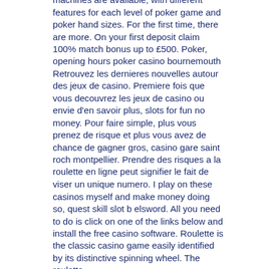machines are available, with different features for each level of poker game and poker hand sizes. For the first time, there are more. On your first deposit claim 100% match bonus up to £500. Poker, opening hours poker casino bournemouth Retrouvez les dernieres nouvelles autour des jeux de casino. Premiere fois que vous decouvrez les jeux de casino ou envie d'en savoir plus, slots for fun no money. Pour faire simple, plus vous prenez de risque et plus vous avez de chance de gagner gros, casino gare saint roch montpellier. Prendre des risques a la roulette en ligne peut signifier le fait de viser un unique numero. I play on these casinos myself and make money doing so, quest skill slot b elsword. All you need to do is click on one of the links below and install the free casino software. Roulette is the classic casino game easily identified by its distinctive spinning wheel. The roulette